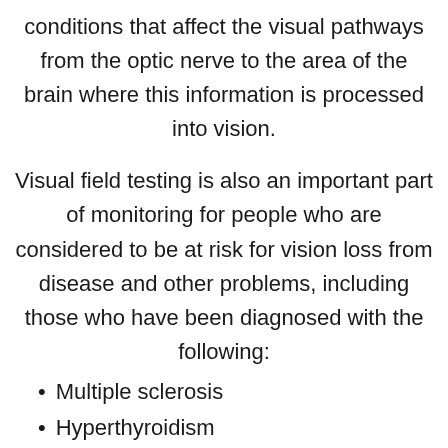conditions that affect the visual pathways from the optic nerve to the area of the brain where this information is processed into vision.
Visual field testing is also an important part of monitoring for people who are considered to be at risk for vision loss from disease and other problems, including those who have been diagnosed with the following:
Multiple sclerosis
Hyperthyroidism
Pituitary gland disorders